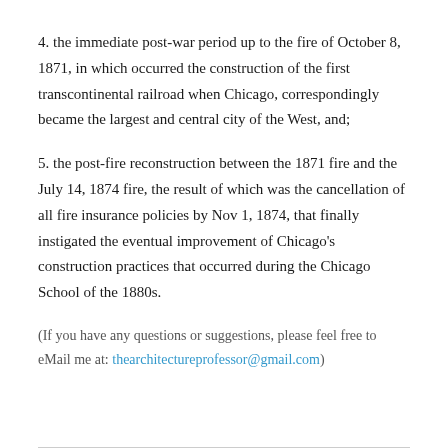4. the immediate post-war period up to the fire of October 8, 1871, in which occurred the construction of the first transcontinental railroad when Chicago, correspondingly became the largest and central city of the West, and;
5. the post-fire reconstruction between the 1871 fire and the July 14, 1874 fire, the result of which was the cancellation of all fire insurance policies by Nov 1, 1874, that finally instigated the eventual improvement of Chicago's construction practices that occurred during the Chicago School of the 1880s.
(If you have any questions or suggestions, please feel free to eMail me at: thearchitectureprofessor@gmail.com)